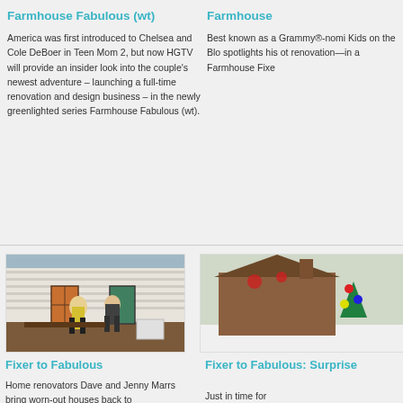Farmhouse Fabulous (wt)
America was first introduced to Chelsea and Cole DeBoer in Teen Mom 2, but now HGTV will provide an insider look into the couple's newest adventure – launching a full-time renovation and design business – in the newly greenlighted series Farmhouse Fabulous (wt).
Farmhouse
Best known as a Grammy®-nomi Kids on the Blo spotlights his ot renovation—in a Farmhouse Fixe
[Figure (photo): Two people standing in front of a renovated farmhouse with white siding and French doors]
[Figure (photo): Exterior of a home decorated with Christmas/holiday decorations]
Fixer to Fabulous
Home renovators Dave and Jenny Marrs bring worn-out houses back to
Fixer to Fabulous: Surprise
Just in time for